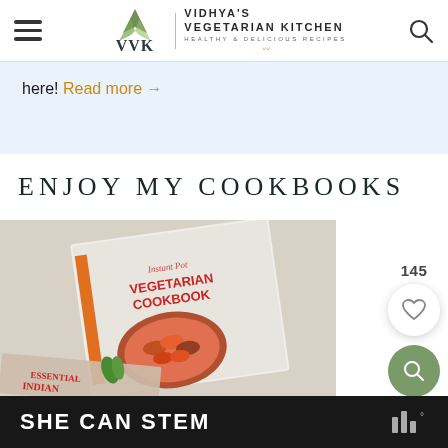Vidhya's Vegetarian Kitchen — Healthy & Delicious Recipes
here! Read more →
ENJOY MY COOKBOOKS
[Figure (photo): A cookbook titled 'Instant Pot Vegetarian Cookbook' lying on a marble surface, with a ratatouille dish on the cover, and another book partially visible at the bottom titled 'Essential Indian']
SHE CAN STEM